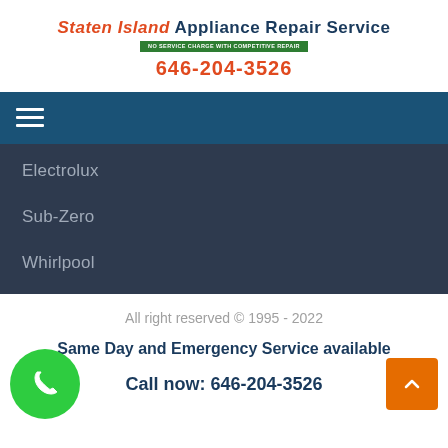Staten Island Appliance Repair Service | 646-204-3526
[Figure (other): Navigation hamburger menu icon (three horizontal white lines) on dark blue background]
Electrolux
Sub-Zero
Whirlpool
All right reserved © 1995 - 2022
Same Day and Emergency Service available
Call now: 646-204-3526